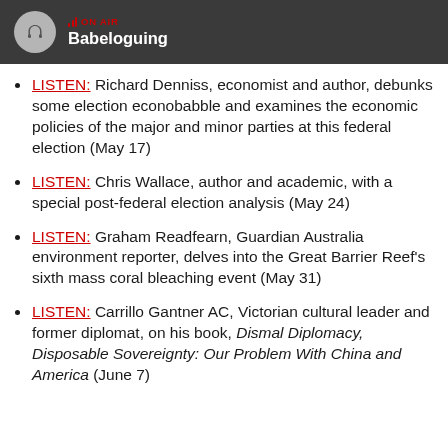ON AIR Babeloguing
LISTEN: Richard Denniss, economist and author, debunks some election econobabble and examines the economic policies of the major and minor parties at this federal election (May 17)
LISTEN: Chris Wallace, author and academic, with a special post-federal election analysis (May 24)
LISTEN: Graham Readfearn, Guardian Australia environment reporter, delves into the Great Barrier Reef's sixth mass coral bleaching event (May 31)
LISTEN: Carrillo Gantner AC, Victorian cultural leader and former diplomat, on his book, Dismal Diplomacy, Disposable Sovereignty: Our Problem With China and America (June 7)